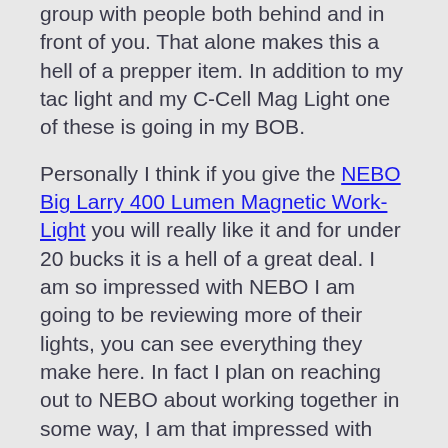group with people both behind and in front of you.  That alone makes this a hell of a prepper item.  In addition to my tac light and my C-Cell Mag Light one of these is going in my BOB.
Personally I think if you give the NEBO Big Larry 400 Lumen Magnetic Work-Light you will really like it and for under 20 bucks it is a hell of a great deal.  I am so impressed with NEBO I am going to be reviewing more of their lights, you can see everything they make here.  In fact I plan on reaching out to NEBO about working together in some way, I am that impressed with them so far.
Remember you can always find all of our reviews at TspAz.com
Video of this Light in Action
~~~~~~~~~~~~~~~~~~~